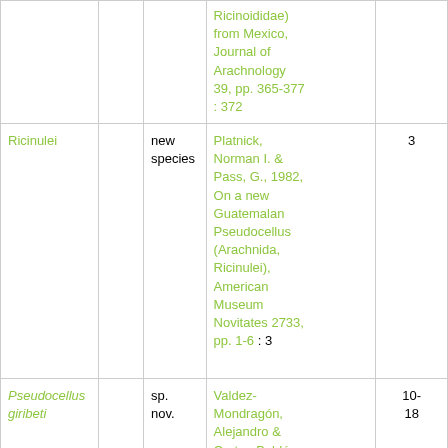|  |  |  | Ricinoididae) from Mexico, Journal of Arachnology 39, pp. 365-377 : 372 |  |
| Ricinulei |  | new species | Platnick, Norman I. & Pass, G., 1982, On a new Guatemalan Pseudocellus (Arachnida, Ricinulei), American Museum Novitates 2733, pp. 1-6 : 3 | 3 |
| Pseudocellus giribeti |  | sp. nov. | Valdez-Mondragón, Alejandro & Cortes-Baldón, | 10-18 |